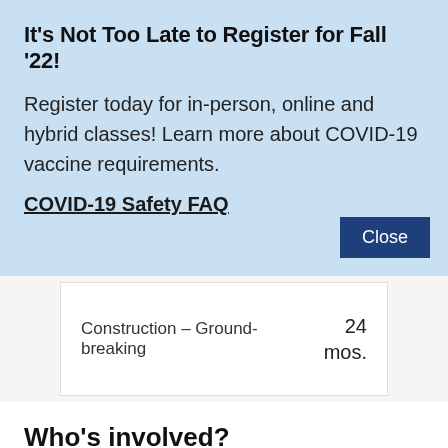It's Not Too Late to Register for Fall '22!
Register today for in-person, online and hybrid classes! Learn more about COVID-19 vaccine requirements.
COVID-19 Safety FAQ
| Construction – Ground-breaking | 24 mos. |
Who's involved?